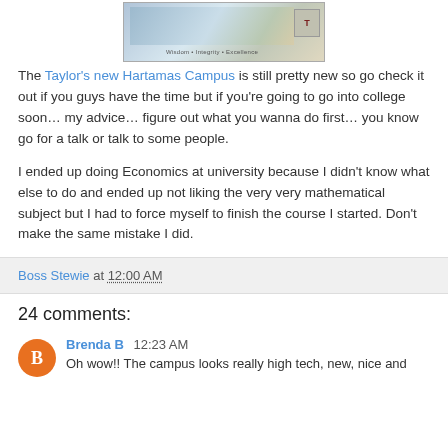[Figure (photo): Top portion of a campus/university image showing buildings and branding, partially cropped]
The Taylor's new Hartamas Campus is still pretty new so go check it out if you guys have the time but if you're going to go into college soon… my advice… figure out what you wanna do first… you know go for a talk or talk to some people.
I ended up doing Economics at university because I didn't know what else to do and ended up not liking the very very mathematical subject but I had to force myself to finish the course I started. Don't make the same mistake I did.
Boss Stewie at 12:00 AM
24 comments:
Brenda B  12:23 AM
Oh wow!! The campus looks really high tech, new, nice and